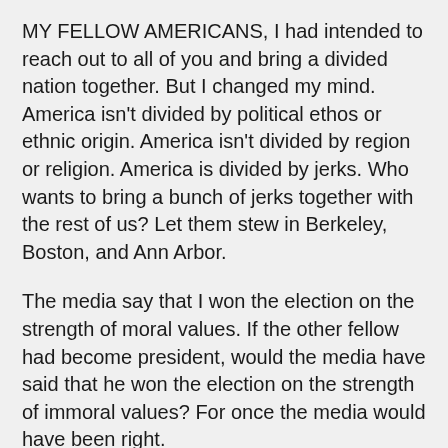MY FELLOW AMERICANS, I had intended to reach out to all of you and bring a divided nation together. But I changed my mind. America isn't divided by political ethos or ethnic origin. America isn't divided by region or religion. America is divided by jerks. Who wants to bring a bunch of jerks together with the rest of us? Let them stew in Berkeley, Boston, and Ann Arbor.
The media say that I won the election on the strength of moral values. If the other fellow had become president, would the media have said that he won the election on the strength of immoral values? For once the media would have been right.
We are all sinners. But jerks revel in their sins. You can tell by their reaction to the Ten Commandments. Post those Ten Commandments in a courthouse or a statehouse, in a public school or a public park, and the jerks go crazy. Why is that? Christians believe in the